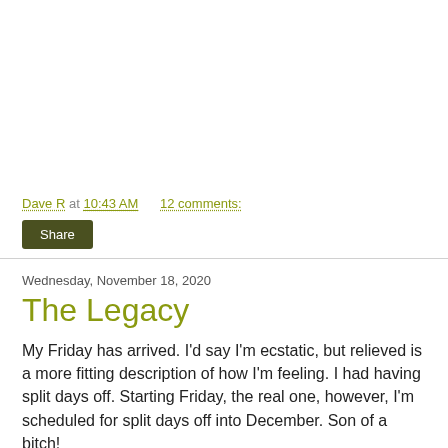Dave R at 10:43 AM    12 comments:
Share
Wednesday, November 18, 2020
The Legacy
My Friday has arrived.  I'd say I'm ecstatic, but relieved is a more fitting description of how I'm feeling.  I had having split days off.  Starting Friday, the real one, however, I'm scheduled for split days off into December.  Son of a bitch!
And yesterday was an odd one at work.  I was the only Specialist scheduled.  Only one aisle associate was